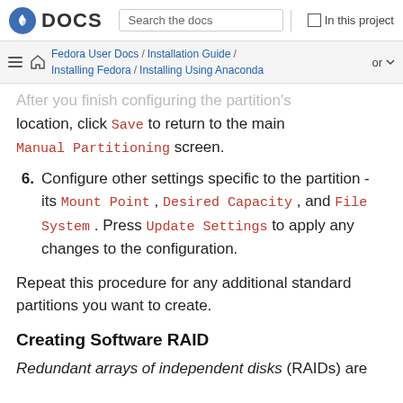DOCS | Search the docs | In this project
Fedora User Docs / Installation Guide / Installing Fedora / Installing Using Anaconda | or
After you finish configuring the partition's location, click Save to return to the main Manual Partitioning screen.
6. Configure other settings specific to the partition - its Mount Point, Desired Capacity, and File System. Press Update Settings to apply any changes to the configuration.
Repeat this procedure for any additional standard partitions you want to create.
Creating Software RAID
Redundant arrays of independent disks (RAIDs) are